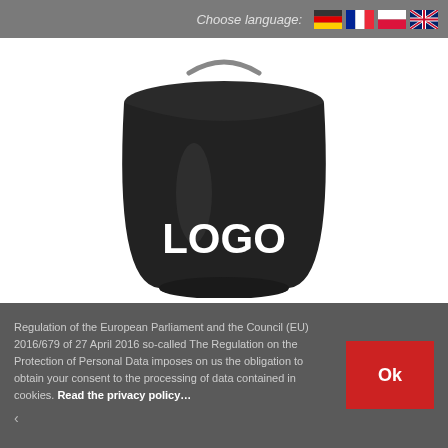Choose language:
[Figure (logo): A black plastic bucket/pail with a metal handle, displaying the word LOGO in white bold text on the front.]
Regulation of the European Parliament and the Council (EU) 2016/679 of 27 April 2016 so-called The Regulation on the Protection of Personal Data imposes on us the obligation to obtain your consent to the processing of data contained in cookies. Read the privacy policy…
Ok